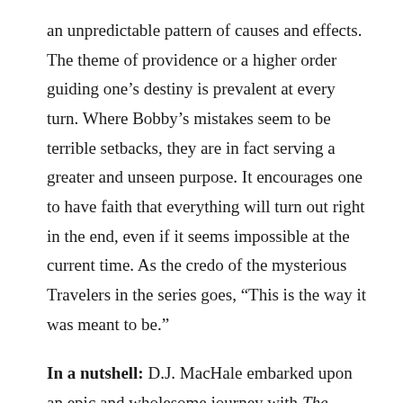an unpredictable pattern of causes and effects. The theme of providence or a higher order guiding one's destiny is prevalent at every turn. Where Bobby's mistakes seem to be terrible setbacks, they are in fact serving a greater and unseen purpose. It encourages one to have faith that everything will turn out right in the end, even if it seems impossible at the current time. As the credo of the mysterious Travelers in the series goes, “This is the way it was meant to be.”
In a nutshell: D.J. MacHale embarked upon an epic and wholesome journey with The Merchant of Death. There is so much more I wish to say about this series, but I must save some musings for my reviews on the proceeding novels. I tried to keep plot specifics as